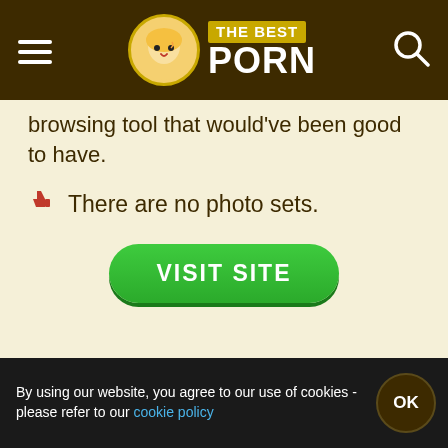[Figure (logo): The Best Porn website logo with hamburger menu and search icon in dark brown header]
browsing tool that would've been good to have.
There are no photo sets.
[Figure (other): Green VISIT SITE button]
[Figure (other): View Desktop Site button with monitor icon in dark brown footer]
By using our website, you agree to our use of cookies - please refer to our cookie policy